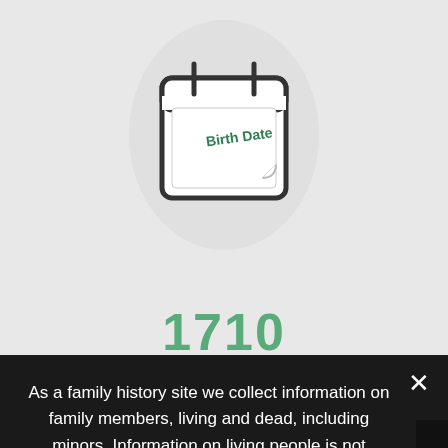[Figure (illustration): Calendar icon with 'Birth Date' written on it, inside a light gray circle, on a light gray background]
1710
As a family history site we collect information on family members, living and dead, including minors. Information on living people is not displayed to anonymous users.
We only use cookies that are essential to the operation of the site. For more information, click on Privacy Preferences to view our Privacy Statement.
❯ Privacy Preferences
I Agree